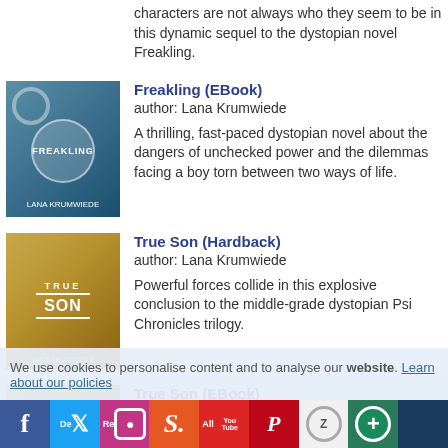characters are not always who they seem to be in this dynamic sequel to the dystopian novel Freakling.
[Figure (illustration): Book cover for Freakling (EBook) by Lana Krumwiede]
Freakling (EBook)
author: Lana Krumwiede

A thrilling, fast-paced dystopian novel about the dangers of unchecked power and the dilemmas facing a boy torn between two ways of life.
[Figure (illustration): Book cover for True Son (Hardback) by Lana Krumwiede]
True Son (Hardback)
author: Lana Krumwiede

Powerful forces collide in this explosive conclusion to the middle-grade dystopian Psi Chronicles trilogy.
[Figure (illustration): Book cover for True Son (EBook) by Lana Krumwiede]
True Son (EBook)
author: Lana Krumwiede

Powerful forces collide in this explosive conclusion to the middle-grade dystopian Psi Chronicles trilogy.
We use cookies to personalise content and to analyse our website. Learn about our policies
De Re All Doc